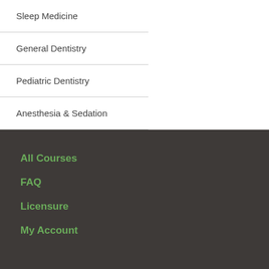Sleep Medicine
General Dentistry
Pediatric Dentistry
Anesthesia & Sedation
All Courses
FAQ
Licensure
My Account
Accessibility | Privacy Notice | Terms of Use | Contact Us